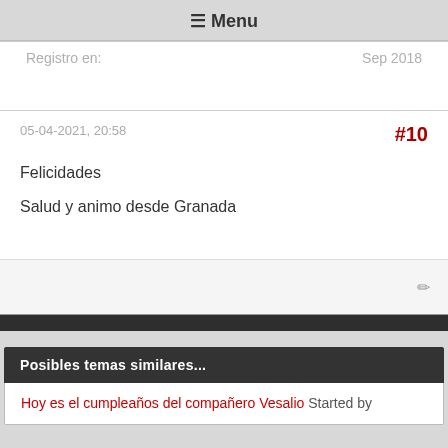☰ Menu
Registro en:	Sep 2018
05-04-2021, 20:58
#10

Felicidades

Salud y animo desde Granada
Posibles temas similares...
Hoy es el cumpleaños del compañero Vesalio Started by